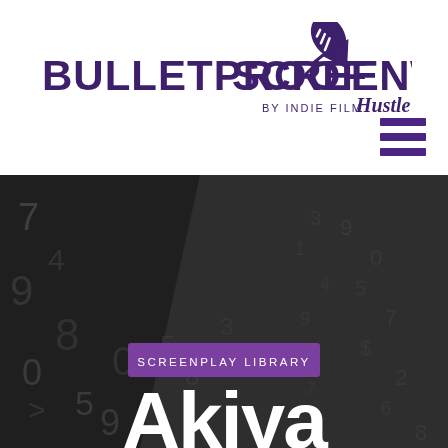[Figure (logo): Bulletproof Screenwriting logo with rocket/trowel icon, purple text, 'BY INDIE FILM HUSTLE' tagline]
[Figure (photo): Dark grayscale background image of typewriter keys/numbers, blurred, with purple 'SCREENPLAY LIBRARY' badge and large white 'Akiya' heading overlaid]